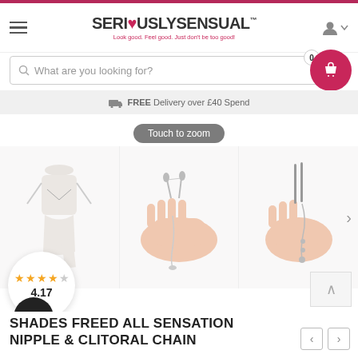SERIOUSLYSENSUAL™ — Look good. Feel good. Just don't be too good!
What are you looking for?
FREE Delivery over £40 Spend
Touch to zoom
[Figure (photo): Three product images: mannequin torso with nipple chain, hand holding chain, hand holding clamp-style jewelry]
4.17
SHADES FREED ALL SENSATION NIPPLE & CLITORAL CHAIN